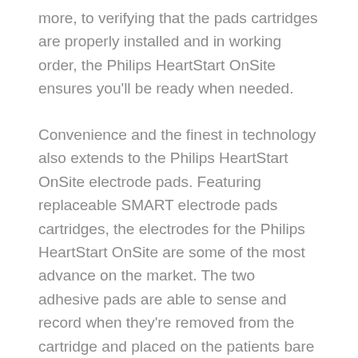more, to verifying that the pads cartridges are properly installed and in working order, the Philips HeartStart OnSite ensures you'll be ready when needed.
Convenience and the finest in technology also extends to the Philips HeartStart OnSite electrode pads. Featuring replaceable SMART electrode pads cartridges, the electrodes for the Philips HeartStart OnSite are some of the most advance on the market. The two adhesive pads are able to sense and record when they're removed from the cartridge and placed on the patients bare skin, adjusting the voice prompts and commands of the Philips HeartStart OnSite accordingly.